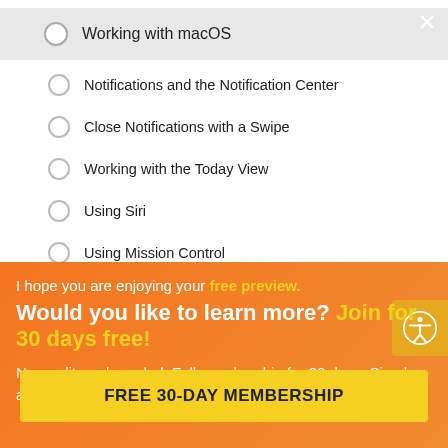Working with macOS
Notifications and the Notification Center
Close Notifications with a Swipe
Working with the Today View
Using Siri
Using Mission Control
[Figure (infographic): Orange promotional overlay popup with text: 'I hope you are enjoying your free preview. Would you like to learn more? Join for 30 days free! No credit card needed. Full membership for 30 days. Simple as that!' and a yellow CTA button 'FREE 30-DAY MEMBERSHIP'. Accessibility icon button in top right corner.]